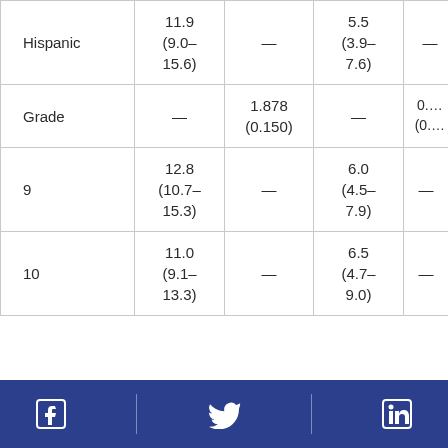|  | Col1 | Col2 | Col3 | Col4 |
| --- | --- | --- | --- | --- |
| Hispanic | 11.9
(9.0–15.6) | — | 5.5
(3.9–7.6) | — |
| Grade | — | 1.878
(0.150) | — | 0.…
(0.… |
| 9 | 12.8
(10.7–15.3) | — | 6.0
(4.5–7.9) | — |
| 10 | 11.0
(9.1–13.3) | — | 6.5
(4.7–9.0) | — |
Social media icons: Facebook, Twitter, LinkedIn